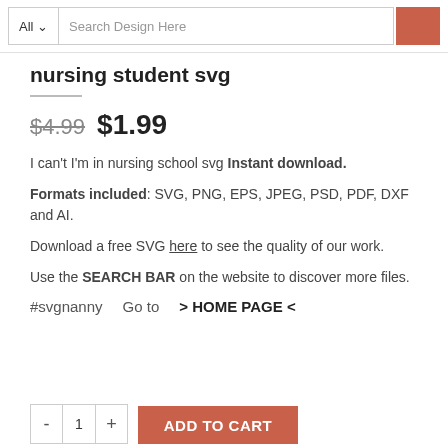All  Search Design Here
nursing student svg
$4.99  $1.99
I can't I'm in nursing school svg Instant download.
Formats included: SVG, PNG, EPS, JPEG, PSD, PDF, DXF and AI.
Download a free SVG here to see the quality of our work.
Use the SEARCH BAR on the website to discover more files.
#svgnanny    Go to    > HOME PAGE <